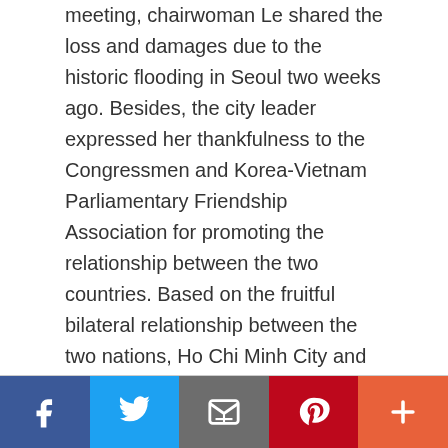meeting, chairwoman Le shared the loss and damages due to the historic flooding in Seoul two weeks ago. Besides, the city leader expressed her thankfulness to the Congressmen and Korea-Vietnam Parliamentary Friendship Association for promoting the relationship between the two countries. Based on the fruitful bilateral relationship between the two nations, Ho Chi Minh City and the Republic of Korea have gained positive achievements. In the term of investment, the Republic of Korea is currently the third biggest …
[Read more...]
[Figure (infographic): Social sharing toolbar with five buttons: Facebook (dark blue), Twitter (light blue), Email/envelope (grey), Pinterest (dark red), More/plus (orange-red)]